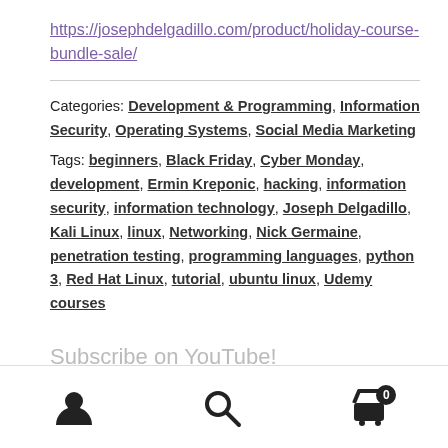https://josephdelgadillo.com/product/holiday-course-bundle-sale/
Categories: Development & Programming, Information Security, Operating Systems, Social Media Marketing
Tags: beginners, Black Friday, Cyber Monday, development, Ermin Kreponic, hacking, information security, information technology, Joseph Delgadillo, Kali Linux, linux, Networking, Nick Germaine, penetration testing, programming languages, python 3, Red Hat Linux, tutorial, ubuntu linux, Udemy courses
Subscribe on YouTube!
user icon | search icon | cart 0